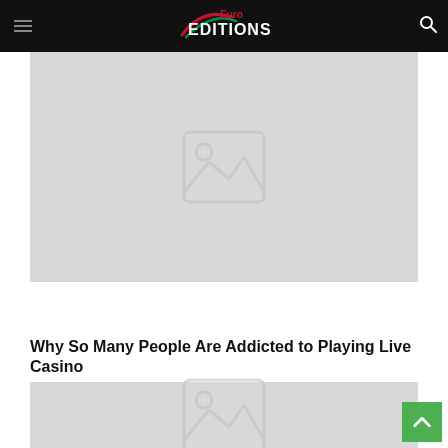Euro Editions
[Figure (photo): Placeholder image with mountain and sun icon on grey background, top article card]
Why So Many People Are Addicted to Playing Live Casino
[Figure (photo): Placeholder image with mountain and sun icon on grey background, bottom article card]